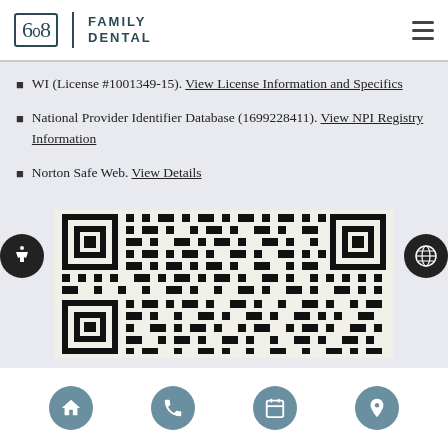608 Family Dental
WI (License #1001349-15). View License Information and Specifics
National Provider Identifier Database (1699228411). View NPI Registry Information
Norton Safe Web. View Details
Trend Micro Site Safety Center. View Details
[Figure (other): QR code for 608 Family Dental website]